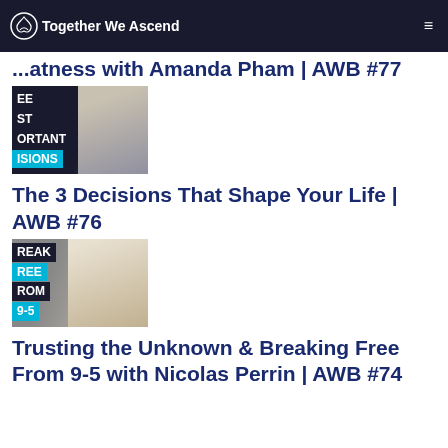Together We Ascend | ...atness with Amanda Pham | AWB #77
[Figure (photo): Thumbnail image with dark background and text overlays: EE, ST, ORTANT, ISIONS in black/cyan bands; person visible on right side]
The 3 Decisions That Shape Your Life | AWB #76
[Figure (photo): Thumbnail image with text overlays: REAK, REE in cyan, ROM, 9-5 in cyan bands; smiling man in white shirt visible]
Trusting the Unknown & Breaking Free From 9-5 with Nicolas Perrin | AWB #74